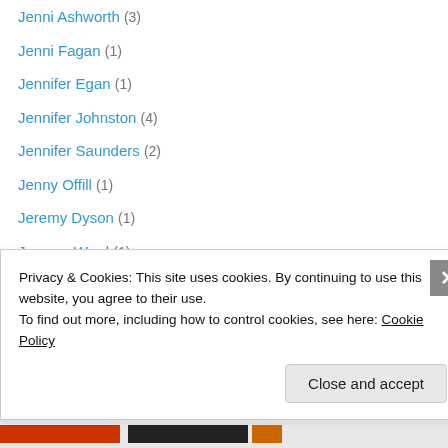Jenni Ashworth (3)
Jenni Fagan (1)
Jennifer Egan (1)
Jennifer Johnston (4)
Jennifer Saunders (2)
Jenny Offill (1)
Jeremy Dyson (1)
Jesmyn Ward (1)
Jess Richards (1)
Jess Walter (1)
Jesse Kellerman (3)
Jessica Francis Kane (1)
Jessica Mitford (1)
Jessie Burton (1)
Privacy & Cookies: This site uses cookies. By continuing to use this website, you agree to their use. To find out more, including how to control cookies, see here: Cookie Policy
Close and accept